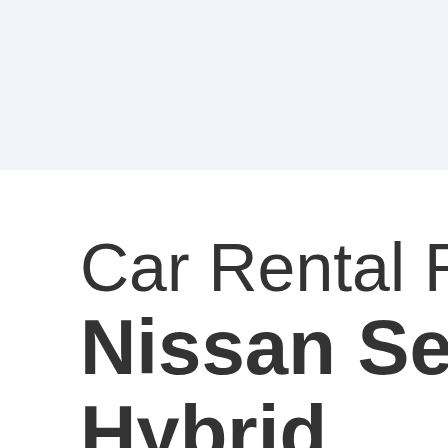[Figure (other): Light blue/grey background panel at top of page, approximately half the page height]
Car Rental Re Nissan Sere Hybrid